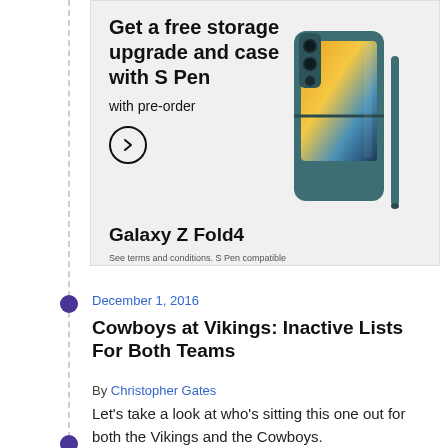[Figure (other): Samsung Galaxy Z Fold4 advertisement banner. Text reads: 'Get a free storage upgrade and case with S Pen' with 'with pre-order' subheading, a circular arrow button, and 'Galaxy Z Fold4' product name with disclaimer 'See terms and conditions. S Pen compatible only with Galaxy Z Fold4 main display.' Right side shows a teal-colored Samsung Galaxy Z Fold4 phone folded with an S Pen stylus.]
December 1, 2016
Cowboys at Vikings: Inactive Lists For Both Teams
By Christopher Gates
Let's take a look at who's sitting this one out for both the Vikings and the Cowboys.